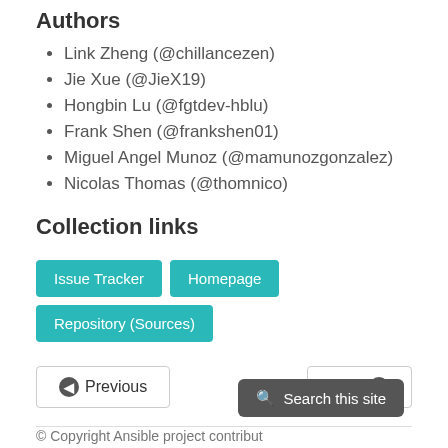Authors
Link Zheng (@chillancezen)
Jie Xue (@JieX19)
Hongbin Lu (@fgtdev-hblu)
Frank Shen (@frankshen01)
Miguel Angel Munoz (@mamunozgonzalez)
Nicolas Thomas (@thomnico)
Collection links
Issue Tracker  Homepage  Repository (Sources)
Previous  Next
© Copyright Ansible project contributors, and ot...  Search this site